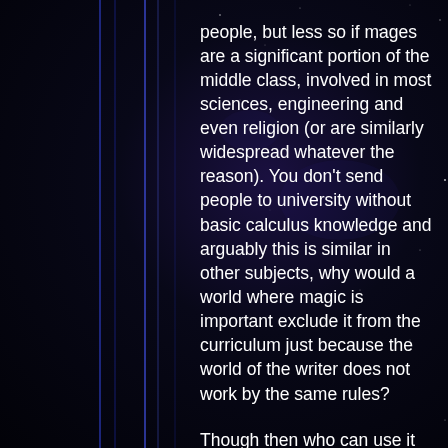people, but less so if mages are a significant portion of the middle class, involved in most sciences, engineering and even religion (or are similarly widespread whatever the reason). You don't send people to university without basic calculus knowledge and arguably this is similar in other subjects, why would a world where magic is important exclude it from the curriculum just because the world of the writer does not work by the same rules?
Though then who can use it and what having magic entails is also important. If it's a talent that manifests or can get